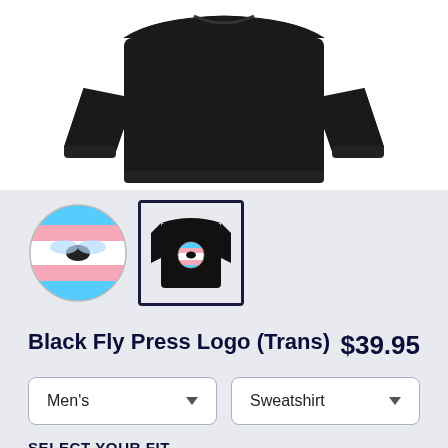[Figure (photo): Black sweatshirt product photo on white background, viewed from front/top angle]
[Figure (photo): Two product thumbnails: first is a circular logo with a fly on trans flag colors, second is selected showing the black sweatshirt with the logo on back]
Black Fly Press Logo (Trans)
$39.95
Men's
Sweatshirt
SELECT YOUR FIT
$39.95
French Terry
$50.45
Sponge Fleece